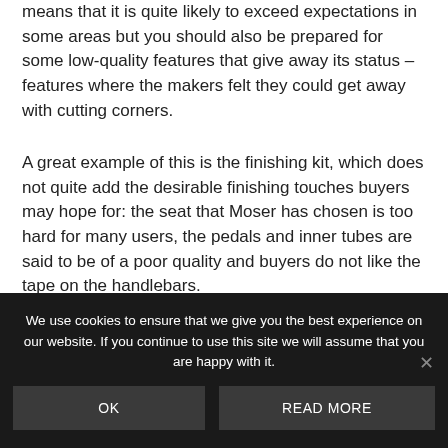means that it is quite likely to exceed expectations in some areas but you should also be prepared for some low-quality features that give away its status – features where the makers felt they could get away with cutting corners.
A great example of this is the finishing kit, which does not quite add the desirable finishing touches buyers may hope for: the seat that Moser has chosen is too hard for many users, the pedals and inner tubes are said to be of a poor quality and buyers do not like the tape on the handlebars.
We use cookies to ensure that we give you the best experience on our website. If you continue to use this site we will assume that you are happy with it.